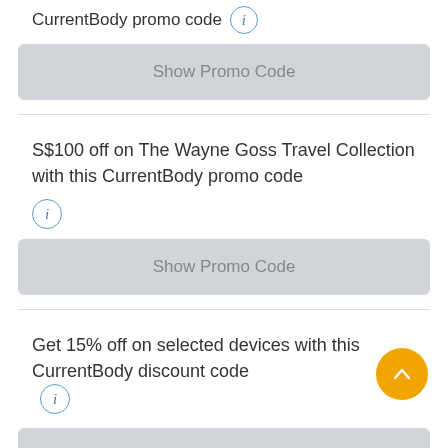CurrentBody promo code
[Figure (other): Show Promo Code button (gray rounded rectangle)]
S$100 off on The Wayne Goss Travel Collection with this CurrentBody promo code
[Figure (other): Show Promo Code button (gray rounded rectangle)]
Get 15% off on selected devices with this CurrentBody discount code
[Figure (other): Show Promo Code button (gray rounded rectangle, partially visible)]